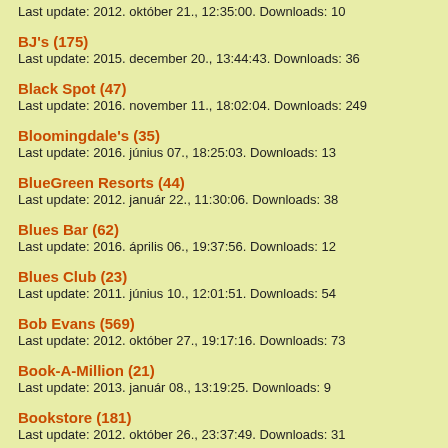Last update: 2012. október 21., 12:35:00. Downloads: 10
BJ's (175)
Last update: 2015. december 20., 13:44:43. Downloads: 36
Black Spot (47)
Last update: 2016. november 11., 18:02:04. Downloads: 249
Bloomingdale's (35)
Last update: 2016. június 07., 18:25:03. Downloads: 13
BlueGreen Resorts (44)
Last update: 2012. január 22., 11:30:06. Downloads: 38
Blues Bar (62)
Last update: 2016. április 06., 19:37:56. Downloads: 12
Blues Club (23)
Last update: 2011. június 10., 12:01:51. Downloads: 54
Bob Evans (569)
Last update: 2012. október 27., 19:17:16. Downloads: 73
Book-A-Million (21)
Last update: 2013. január 08., 13:19:25. Downloads: 9
Bookstore (181)
Last update: 2012. október 26., 23:37:49. Downloads: 31